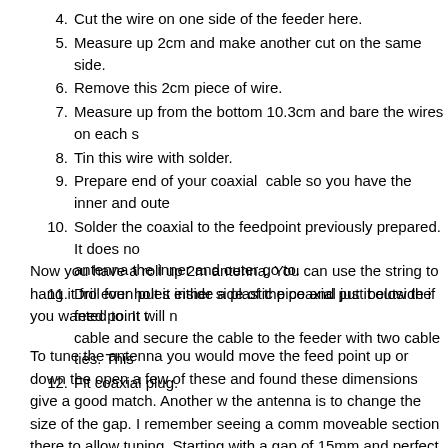4. Cut the wire on one side of the feeder here.
5. Measure up 2cm and make another cut on the same side.
6. Remove this 2cm piece of wire.
7. Measure up from the bottom 10.3cm and bare the wires on each s
8. Tin this wire with solder.
9. Prepare end of your coaxial cable so you have the inner and oute
10. Solder the coaxial to the feedpoint previously prepared. It does no antenna the inner and outer go to.
11. Drill four holes either side of the coaxial just below the feed point t cable and secure the cable to the feeder with two cable ties. This
12. Fit coaxial plug.
Now you have a roll up 2m antenna. You can use the string to hang it fro even put it inside a plastic pipe and put it outside if you wanted to. It will n
To tune the antenna you would move the feed point up or down the open a few of these and found these dimensions give a good match. Another w the antenna is to change the size of the gap. I remember seeing a comm moveable section there to allow tuning. Starting with a gap of 15mm and perfect may be worth trying.